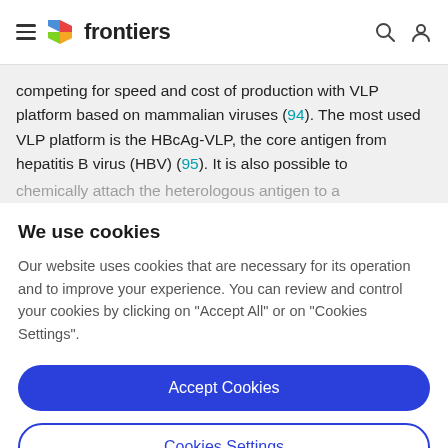frontiers
competing for speed and cost of production with VLP platform based on mammalian viruses (94). The most used VLP platform is the HBcAg-VLP, the core antigen from hepatitis B virus (HBV) (95). It is also possible to chemically attach the heterologous antigen to a
We use cookies
Our website uses cookies that are necessary for its operation and to improve your experience. You can review and control your cookies by clicking on "Accept All" or on "Cookies Settings".
Accept Cookies
Cookies Settings